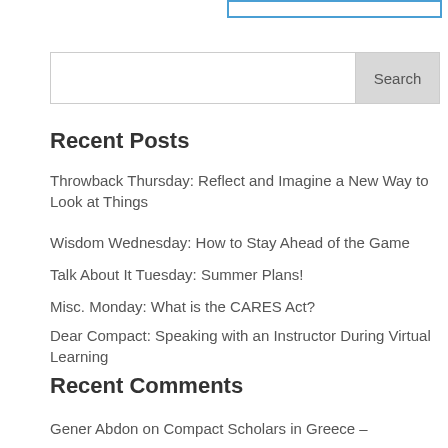[Figure (other): Search input box with blue border at top of page]
[Figure (other): Search bar with text input and Search button]
Recent Posts
Throwback Thursday: Reflect and Imagine a New Way to Look at Things
Wisdom Wednesday: How to Stay Ahead of the Game
Talk About It Tuesday: Summer Plans!
Misc. Monday: What is the CARES Act?
Dear Compact: Speaking with an Instructor During Virtual Learning
Recent Comments
Gener Abdon on Compact Scholars in Greece –